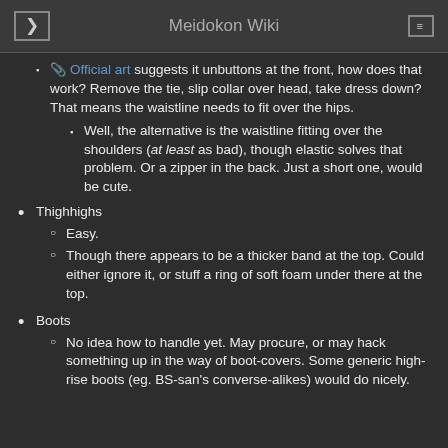Meidokon Wiki
Official art suggests it unbuttons at the front, how does that work? Remove the tie, slip collar over head, take dress down? That means the waistline needs to fit over the hips.
Well, the alternative is the waistline fitting over the shoulders (at least as bad), though elastic solves that problem. Or a zipper in the back. Just a short one, would be cute.
Thighhighs
Easy.
Though there appears to be a thicker band at the top. Could either ignore it, or stuff a ring of soft foam under there at the top.
Boots
No idea how to handle yet. May procure, or may hack something up in the way of boot-covers. Some generic high-rise boots (eg. BS-san's converse-alikes) would do nicely.